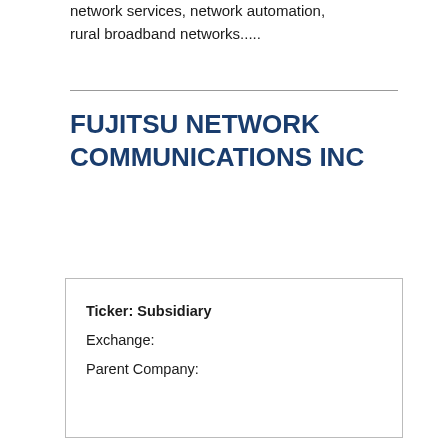network services, network automation, rural broadband networks.....
FUJITSU NETWORK COMMUNICATIONS INC
| Ticker: Subsidiary |
| Exchange: |
| Parent Company: |